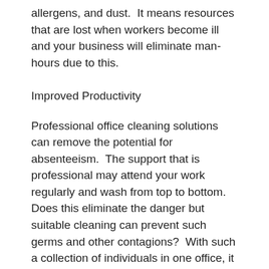allergens, and dust.  It means resources that are lost when workers become ill and your business will eliminate man-hours due to this.
Improved Productivity
Professional office cleaning solutions can remove the potential for absenteeism.  The support that is professional may attend your work regularly and wash from top to bottom.  Does this eliminate the danger but suitable cleaning can prevent such germs and other contagions?  With such a collection of individuals in one office, it is easy to see how illness can spread through businesses.
Create The Ideal Impression
If you have customers visit your premises then the final thing you want them to see is a filthy and unclean